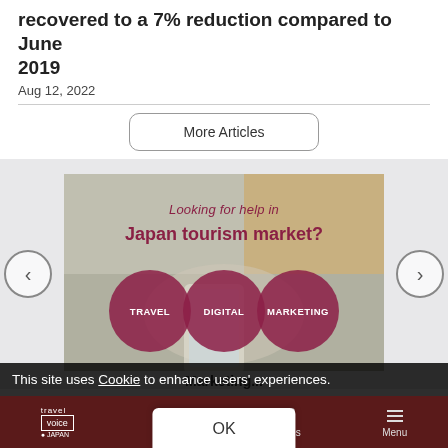recovered to a 7% reduction compared to June 2019
Aug 12, 2022
More Articles
[Figure (photo): Promotional banner for Travel × Digital × Marketing services in Japan tourism market, showing hands holding a smartphone over a map, with three overlapping dark red circles labeled TRAVEL, DIGITAL, MARKETING]
Marketing...
This site uses Cookie to enhance users' experiences.
travel voice JAPAN | Search | Atticles | Menu